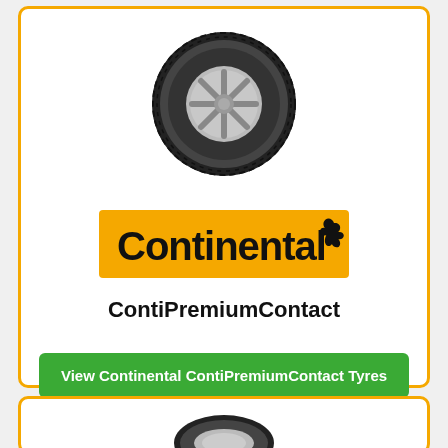[Figure (illustration): Continental ContiPremiumContact tyre product image viewed from the side]
[Figure (logo): Continental brand logo on orange background with black text and rearing horse icon]
ContiPremiumContact
View Continental ContiPremiumContact Tyres
Prices from £137.58
[Figure (illustration): Partial view of a tyre at the bottom card]